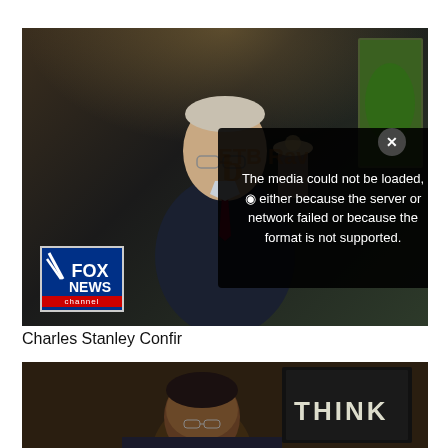[Figure (screenshot): Video thumbnail showing an elderly man in a dark suit with a red tie, Fox News channel logo visible in the bottom left. A media error overlay reads 'The media could not be loaded, either because the server or network failed or because the format is not supported.' A close button (X) is in the top right of the overlay. Background watermark text partially visible.]
Charles Stanley Confir
[Figure (photo): Partial photo of a man with a 'THINK' sign/chalkboard visible in the background on the right side.]